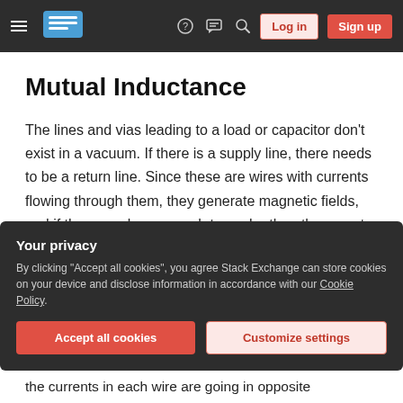Stack Exchange navigation bar with hamburger menu, logo, help, chat, search icons, Log in and Sign up buttons
Mutual Inductance
The lines and vias leading to a load or capacitor don't exist in a vacuum. If there is a supply line, there needs to be a return line. Since these are wires with currents flowing through them, they generate magnetic fields, and if they are close enough to each other, they create mutual inductance. This can be either harmful (when it increases total inductance) or beneficial (when it
Your privacy
By clicking "Accept all cookies", you agree Stack Exchange can store cookies on your device and disclose information in accordance with our Cookie Policy.
Accept all cookies  Customize settings
the currents in each wire are going in opposite